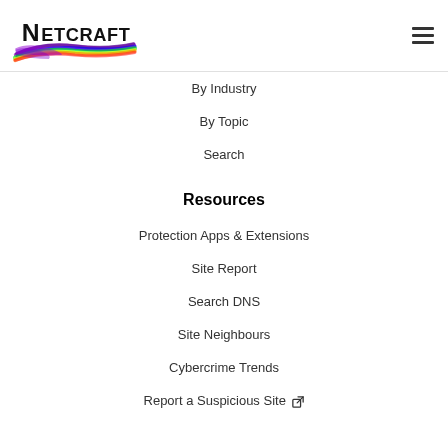Netcraft
By Industry
By Topic
Search
Resources
Protection Apps & Extensions
Site Report
Search DNS
Site Neighbours
Cybercrime Trends
Report a Suspicious Site